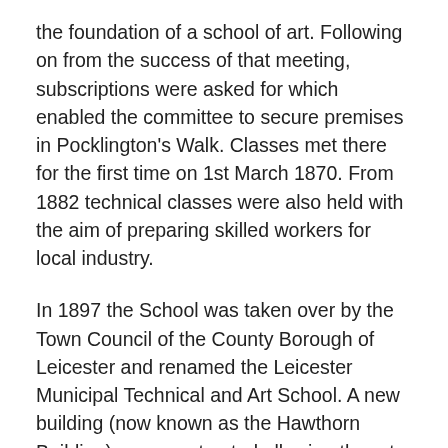the foundation of a school of art. Following on from the success of that meeting, subscriptions were asked for which enabled the committee to secure premises in Pocklington's Walk. Classes met there for the first time on 1st March 1870. From 1882 technical classes were also held with the aim of preparing skilled workers for local industry.
In 1897 the School was taken over by the Town Council of the County Borough of Leicester and renamed the Leicester Municipal Technical and Art School. A new building (now known as the Hawthorn Building) was constructed allowing the art and technical classes to be brought together for the first time. On the technical side classes included boot and shoe manufacture, engineering, plumbing, painting and building trades, and textiles; while on the art side